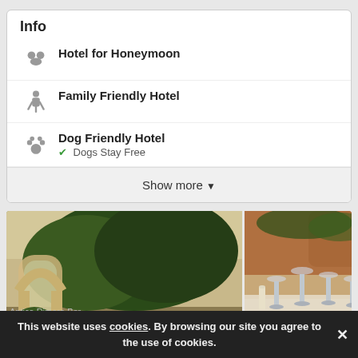Info
Hotel for Honeymoon
Family Friendly Hotel
Dog Friendly Hotel
Dogs Stay Free
Show more
[Figure (photo): Left: garden/courtyard with arches and lush green trees. Right: elegant dining table set with wine glasses.]
Categories
Antica Dimora Ber...
This website uses cookies. By browsing our site you agree to the use of cookies.